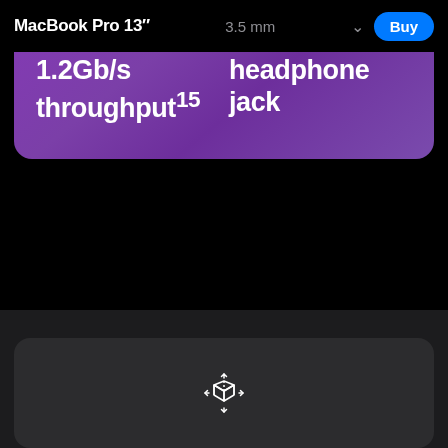MacBook Pro 13"
3.5 mm
Buy
1.2Gb/s throughput¹⁵
headphone jack
[Figure (illustration): AR viewer icon — a white wireframe cube with arrows pointing outward in four diagonal directions, centered in a dark rounded card]